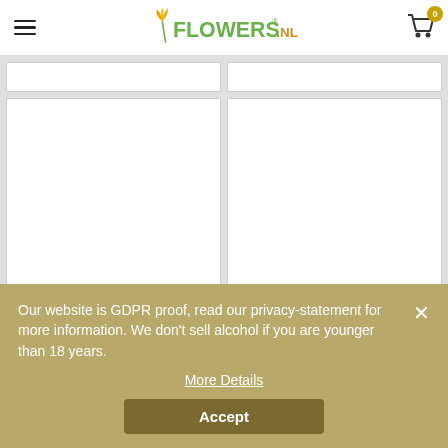Flowers.nl — navigation header with logo, hamburger menu, and cart
[Figure (screenshot): Two rows of product cards in a grid layout; top row shows two partially visible white product cards; bottom row shows two large white product cards]
Our website is GDPR proof, read our privacy-statement for more information. We don't sell alcohol if you are younger than 18 years.
More Details
Accept